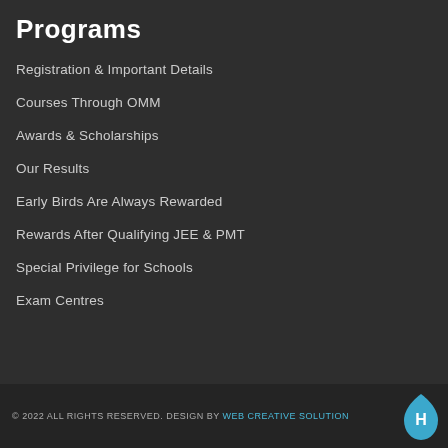Programs
Registration & Important Details
Courses Through OMM
Awards & Scholarships
Our Results
Early Birds Are Always Rewarded
Rewards After Qualifying JEE & PMT
Special Privilege for Schools
Exam Centres
© 2022 ALL RIGHTS RESERVED. DESIGN BY WEB CREATIVE SOLUTIONS